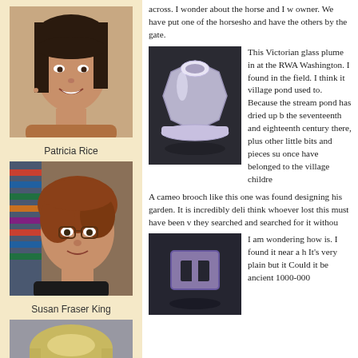[Figure (photo): Portrait photo of Patricia Rice, a woman with dark hair and a smile]
Patricia Rice
[Figure (photo): Portrait photo of Susan Fraser King, a woman with glasses and curly reddish-brown hair]
Susan Fraser King
[Figure (photo): Portrait photo of a woman with short blonde hair and glasses, smiling]
across. I wonder about the horse and I w owner. We have put one of the horsesho and have the others by the gate.
[Figure (photo): Photo of a Victorian glass inkwell, hexagonal shape, pale lavender/clear glass, on dark fabric background]
This Victorian glass plume in at the RWA Washington. I found in the field. I think it village pond used to. Because the stream pond has dried up b the seventeenth and eighteenth century there, plus other little bits and pieces su once have belonged to the village childre
A cameo brooch like this one was found designing his garden. It is incredibly deli think whoever lost this must have been v they searched and searched for it withou
[Figure (photo): Photo of a small rectangular buckle or frame, purple/lavender colored, on dark fabric background]
I am wondering how is. I found it near a h It's very plain but it Could it be ancient 1000-000